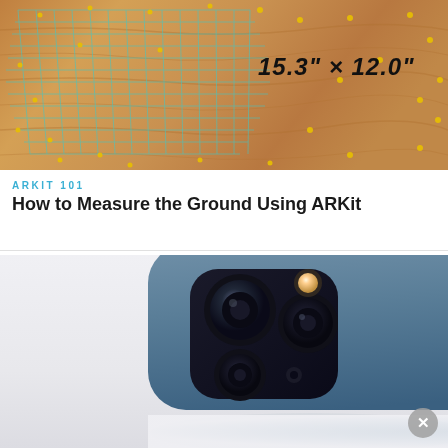[Figure (photo): AR measurement overlay on a wooden surface showing a teal grid with yellow dots and black text reading 15.3" x 12.0"]
ARKIT 101
How to Measure the Ground Using ARKit
[Figure (photo): Close-up of iPhone 12 Pro camera module showing triple lens system in blue/gray color against a light gray background]